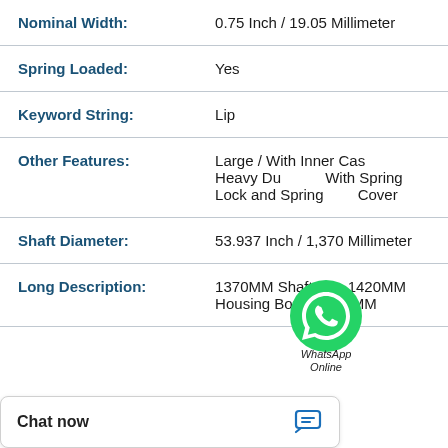| Property | Value |
| --- | --- |
| Nominal Width: | 0.75 Inch / 19.05 Millimeter |
| Spring Loaded: | Yes |
| Keyword String: | Lip |
| Other Features: | Large / With Inner Case / Heavy Duty / With Spring Lock and Spring Cover |
| Shaft Diameter: | 53.937 Inch / 1,370 Millimeter |
| Long Description: | 1370MM Shaft Dia; 1420MM Housing Bore; 19.05MM |
[Figure (other): WhatsApp Online chat widget overlay showing green WhatsApp logo, 'WhatsApp' label, and 'Online' text]
Chat now